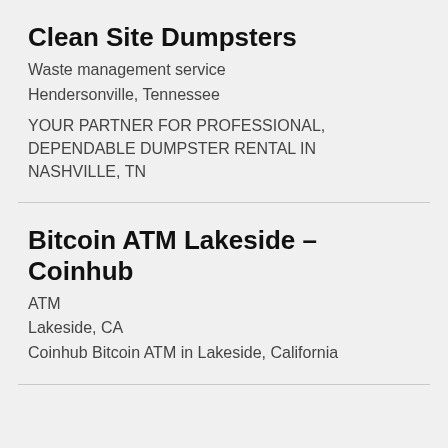Clean Site Dumpsters
Waste management service
Hendersonville, Tennessee
YOUR PARTNER FOR PROFESSIONAL, DEPENDABLE DUMPSTER RENTAL IN NASHVILLE, TN
Bitcoin ATM Lakeside – Coinhub
ATM
Lakeside, CA
Coinhub Bitcoin ATM in Lakeside, California